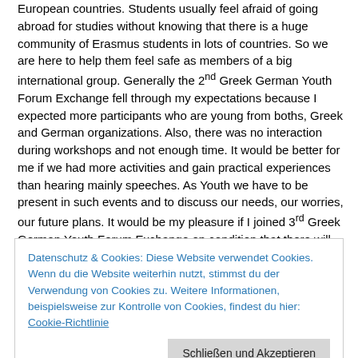European countries. Students usually feel afraid of going abroad for studies without knowing that there is a huge community of Erasmus students in lots of countries. So we are here to help them feel safe as members of a big international group. Generally the 2nd Greek German Youth Forum Exchange fell through my expectations because I expected more participants who are young from boths, Greek and German organizations. Also, there was no interaction during workshops and not enough time. It would be better for me if we had more activities and gain practical experiences than hearing mainly speeches. As Youth we have to be present in such events and to discuss our needs, our worries, our future plans. It would be my pleasure if I joined 3rd Greek German Youth Forum Exchange on condition that there will be new participants and more youngsters. I didn't manage to cooperate with any new organizations because of the lack of youth participants.
Kiriakos Kalandaridis, Erasmus Student Network Greece
Datenschutz & Cookies: Diese Website verwendet Cookies. Wenn du die Website weiterhin nutzt, stimmst du der Verwendung von Cookies zu. Weitere Informationen, beispielsweise zur Kontrolle von Cookies, findest du hier: Cookie-Richtlinie
Schließen und Akzeptieren